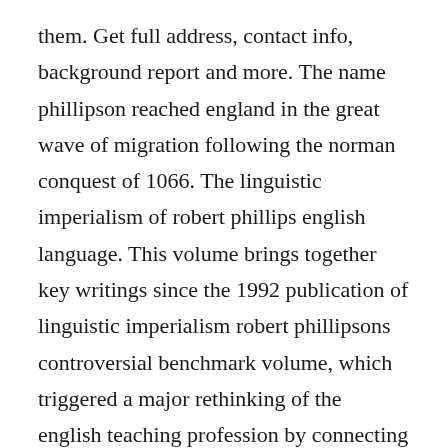them. Get full address, contact info, background report and more. The name phillipson reached england in the great wave of migration following the norman conquest of 1066. The linguistic imperialism of robert phillips english language. This volume brings together key writings since the 1992 publication of linguistic imperialism robert phillipsons controversial benchmark volume, which triggered a major rethinking of the english teaching profession by connecting the field. Margaret phillipson historical records and family tree. Linguistic imperialism...